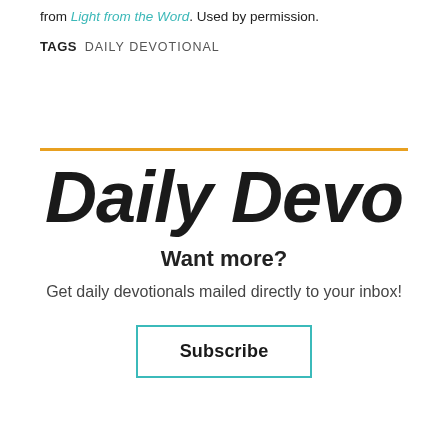from Light from the Word. Used by permission.
TAGS   DAILY DEVOTIONAL
Daily Devo
Want more?
Get daily devotionals mailed directly to your inbox!
Subscribe